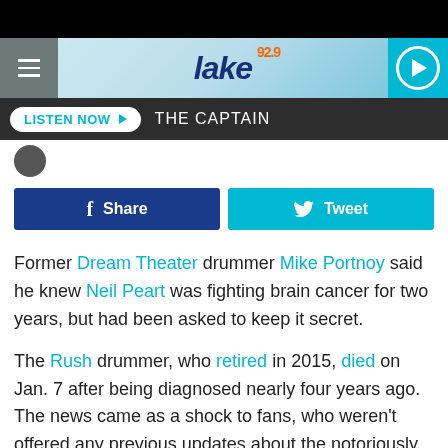[Figure (screenshot): Mobile website header for 92.9 The Lake radio station with hamburger menu, logo, and play button]
LISTEN NOW ▶  THE CAPTAIN
[Figure (screenshot): Facebook Share button (dark blue) and Tweet button (cyan blue)]
Former Dream Theater drummer Mike Portnoy said he knew Neil Peart was fighting brain cancer for two years, but had been asked to keep it secret.
The Rush drummer, who retired in 2015, died on Jan. 7 after being diagnosed nearly four years ago. The news came as a shock to fans, who weren't offered any previous updates about the notoriously reserved Peart.